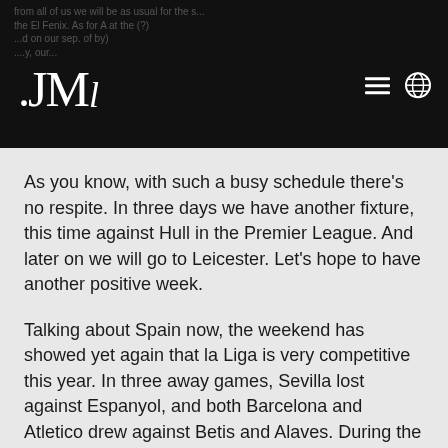.JM
As you know, with such a busy schedule there’s no respite. In three days we have another fixture, this time against Hull in the Premier League. And later on we will go to Leicester. Let’s hope to have another positive week.
Talking about Spain now, the weekend has showed yet again that la Liga is very competitive this year. In three away games, Sevilla lost against Espanyol, and both Barcelona and Atletico drew against Betis and Alaves. During the week, Real Madrid had been knocked out of the Cup by Celta (a team that is